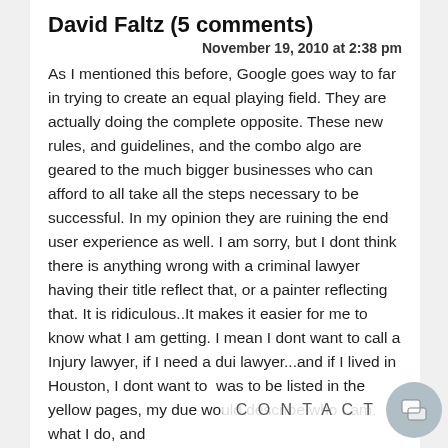David Faltz (5 comments)
November 19, 2010 at 2:38 pm
As I mentioned this before, Google goes way to far in trying to create an equal playing field. They are actually doing the complete opposite. These new rules, and guidelines, and the combo algo are geared to the much bigger businesses who can afford to all take all the steps necessary to be successful. In my opinion they are ruining the end user experience as well. I am sorry, but I dont think there is anything wrong with a criminal lawyer having their title reflect that, or a painter reflecting that. It is ridiculous..It makes it easier for me to know what I am getting. I mean I dont want to call a Injury lawyer, if I need a dui lawyer...and if I lived in Houston, I dont want to... was to be listed in the yellow pages, my due would describe who I am. what I do, and